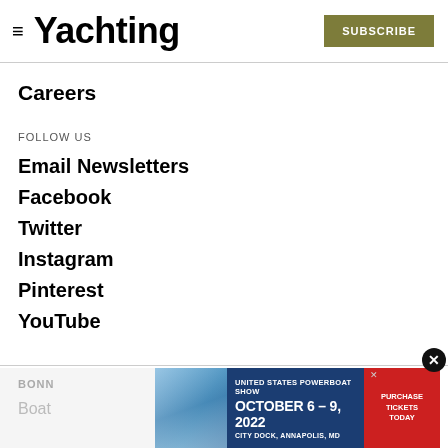Yachting | SUBSCRIBE
Careers
FOLLOW US
Email Newsletters
Facebook
Twitter
Instagram
Pinterest
YouTube
BONN | Boats
[Figure (other): Advertisement banner: UNITED STATES POWERBOAT SHOW OCTOBER 6 – 9, 2022 CITY DOCK, ANNAPOLIS, MD with PURCHASE TICKETS TODAY red button]